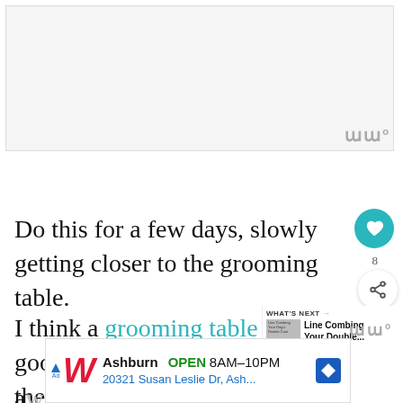[Figure (photo): Large image placeholder at top of page, light gray background]
Do this for a few days, slowly getting closer to the grooming table.
I think a grooming table is a good [item] because you don't want the puppy to run a[way]
[Figure (infographic): WHAT'S NEXT panel showing Line Combing Your Double... article thumbnail]
[Figure (infographic): Walgreens advertisement banner: Ashburn OPEN 8AM-10PM, 20321 Susan Leslie Dr, Ash...]